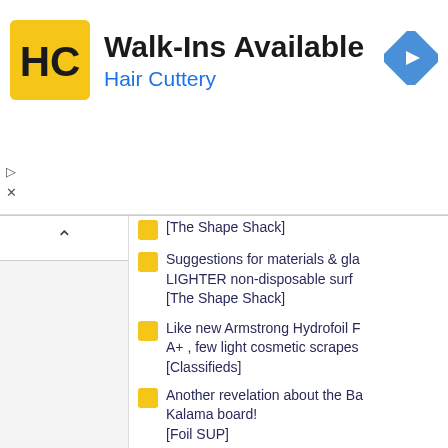[Figure (infographic): Hair Cuttery advertisement banner with logo, 'Walk-Ins Available' text, and navigation icon]
[The Shape Shack]
Suggestions for materials & gla... LIGHTER non-disposable surf [The Shape Shack]
Like new Armstrong Hydrofoil F A+ , few light cosmetic scrapes [Classifieds]
Another revelation about the Ba Kalama board! [Foil SUP]
Wingfoiling? Video [Wingsurfing, Windfoiling, Wing...]
New Board, Kalama 9'2" x 30" [Gear Talk]
Wing Board 110 liters 5'6" x 28... [Classifieds]